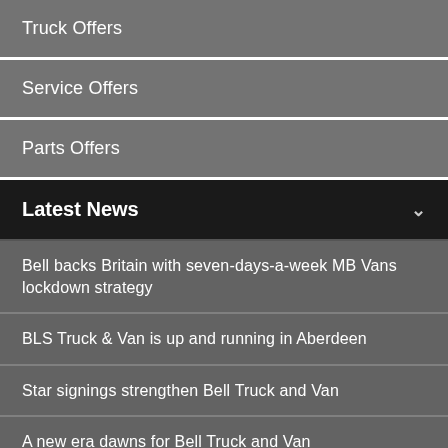Truck Offers
Service Offers
Parts Offers
Latest News
Bell backs Britain with seven-days-a-week MB Vans lockdown strategy
BLS Truck & Van is up and running in Aberdeen
Star signings strengthen Bell Truck and Van
A new era dawns for Bell Truck and Van
HGV Decarbonisation Focus by Cross-Industry Group